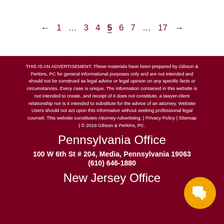← 1 … 3 4 5 6 7 … 17 →
THIS IS AN ADVERTISEMENT. These materials have been prepared by Gibson & Perkins, PC for general informational purposes only and are not intended and should not be construed as legal advice or legal opinion on any specific facts or circumstances. Every case is unique. The information contained in this website is not intended to create, and receipt of it does not constitute, a lawyer-client relationship nor is it intended to substitute for the advice of an attorney. Website Users should not act upon this information without seeking professional legal counsel. This website constitutes Attorney Advertising. | Privacy Policy | Sitemap | © 2019 Gibson & Perkins, PC.
Pennsylvania Office
100 W 6th St # 204, Media, Pennsylvania 19063
(610) 646-1880
New Jersey Office